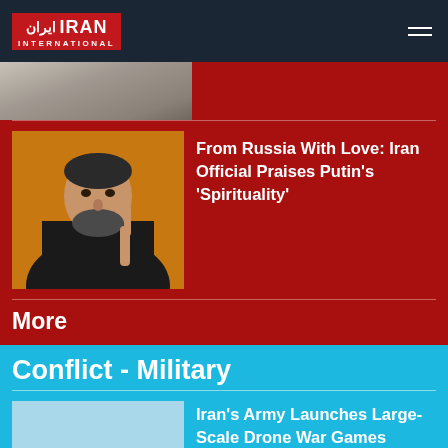Iran International
[Figure (photo): Partial top image strip of a person or scene, cropped]
From Russia With Love: Iran Official Praises Putin's 'Spirituality'
[Figure (photo): Photo of an older bearded Iranian official in a dark suit gesturing with finger raised, orange/red background]
More
Conflict - Military
[Figure (photo): Light blue placeholder thumbnail image]
Iran's Army Launches Large-Scale Drone War Games